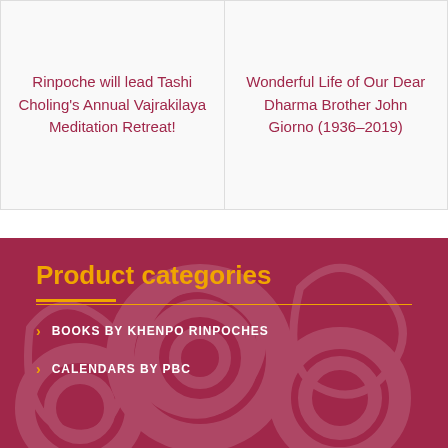Rinpoche will lead Tashi Choling's Annual Vajrakilaya Meditation Retreat!
Wonderful Life of Our Dear Dharma Brother John Giorno (1936–2019)
Product categories
BOOKS BY KHENPO RINPOCHES
CALENDARS BY PBC